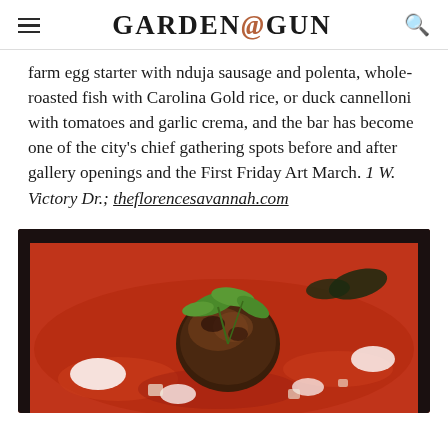GARDEN&GUN
farm egg starter with nduja sausage and polenta, whole-roasted fish with Carolina Gold rice, or duck cannelloni with tomatoes and garlic crema, and the bar has become one of the city’s chief gathering spots before and after gallery openings and the First Friday Art March. 1 W. Victory Dr.; theflorencesavannah.com
[Figure (photo): Food photo showing a braised or stewed dish in a dark cast iron pan, featuring a seared piece of meat or meatball in a rich red tomato sauce with white cream dollops, garnished with fresh green herbs/leaves.]